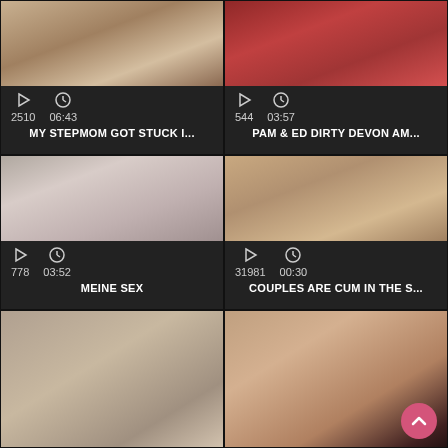[Figure (screenshot): Video thumbnail grid showing adult video website with 6 video cards in 2-column layout. Each card has a thumbnail image, play count, duration, and title.]
2510   06:43   MY STEPMOM GOT STUCK I...
544   03:57   PAM & ED DIRTY DEVON AM...
778   03:52   MEINE SEX
31981   00:30   COUPLES ARE CUM IN THE S...